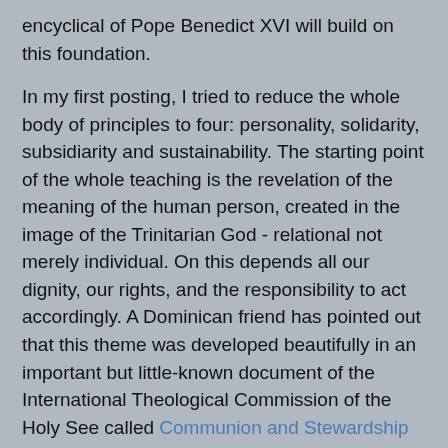encyclical of Pope Benedict XVI will build on this foundation.
In my first posting, I tried to reduce the whole body of principles to four: personality, solidarity, subsidiarity and sustainability. The starting point of the whole teaching is the revelation of the meaning of the human person, created in the image of the Trinitarian God - relational not merely individual. On this depends all our dignity, our rights, and the responsibility to act accordingly. A Dominican friend has pointed out that this theme was developed beautifully in an important but little-known document of the International Theological Commission of the Holy See called Communion and Stewardship (2004). The document discusses the theology of the divine image, including its relevance to gender, community, ecology, evolution, science and technology. Here are some extracts concerning ecology:
Created in the image of God to share in the communion of Trinitarian love, human beings occupy a unique place in the universe according to the divine plan: they enjoy the privilege of sharing in the divine governance of visible